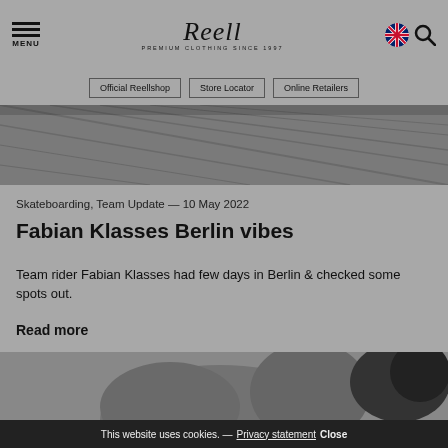MENU | Reell PREMIUM CLOTHING SINCE 1997 | [UK flag] [Search]
Official Reellshop
Store Locator
Online Retailers
[Figure (photo): Overhead shot of stone or concrete pavement/steps in grayscale]
Skateboarding, Team Update — 10 May 2022
Fabian Klasses Berlin vibes
Team rider Fabian Klasses had few days in Berlin & checked some spots out.
Read more
[Figure (photo): Grayscale photo of a skateboarder crouching or performing a trick]
This website uses cookies. — Privacy statement Close